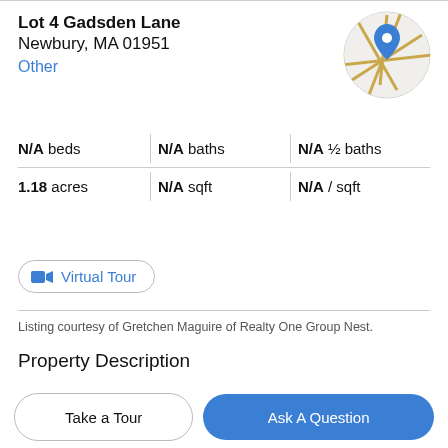Lot 4 Gadsden Lane
Newbury, MA 01951
Other
[Figure (map): Circular map thumbnail with a blue location pin marker, showing road map with beige/gold road lines on light gray background]
N/A beds | N/A baths | N/A ½ baths | 1.18 acres | N/A sqft | N/A / sqft
Virtual Tour
Listing courtesy of Gretchen Maguire of Realty One Group Nest.
Property Description
Last lot left in this Exclusive private neighborhood in Newbury! Seasonal water views. A walking path to access
Take a Tour
Ask A Question